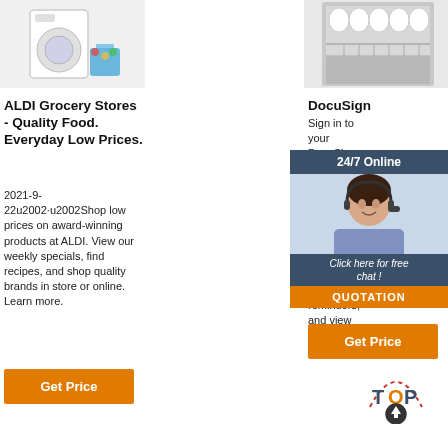[Figure (photo): Washing machine with colorful laundry baskets]
[Figure (photo): Open dishwasher with clean dishes]
[Figure (photo): Gray front-loading washing machine]
ALDI Grocery Stores - Quality Food. Everyday Low Prices.
2021-9-22u2002·u2002Shop low prices on award-winning products at ALDI. View our weekly specials, find recipes, and shop quality brands in store or online. Learn more.
Get Price
DocuSign
Sign in to your DocuSign account to electronically sign documents, request signatures, check document status, send reminders, and view audit trails.
Get Price
GE
2 days agou200 rises to the challenge, building a that work how our technologies & reach helps the world work more efficiently, reliably & safely.
[Figure (infographic): 24/7 Online chat support overlay with agent photo and QUOTATION button]
Get Price